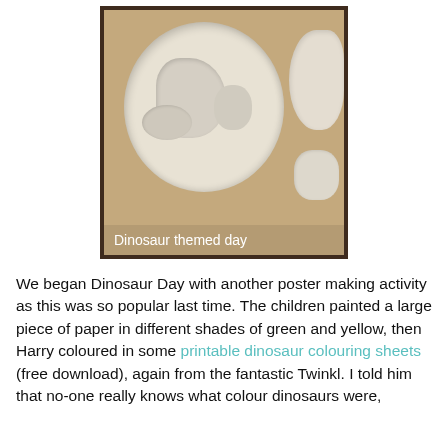[Figure (photo): Photo of white/cream colored clay or salt dough fossil impressions sitting on sandy/brown surface, displayed inside a dark brown border frame. A tan overlay caption bar at the bottom reads 'Dinosaur themed day'.]
Dinosaur themed day
We began Dinosaur Day with another poster making activity as this was so popular last time. The children painted a large piece of paper in different shades of green and yellow, then Harry coloured in some printable dinosaur colouring sheets (free download), again from the fantastic Twinkl. I told him that no-one really knows what colour dinosaurs were,